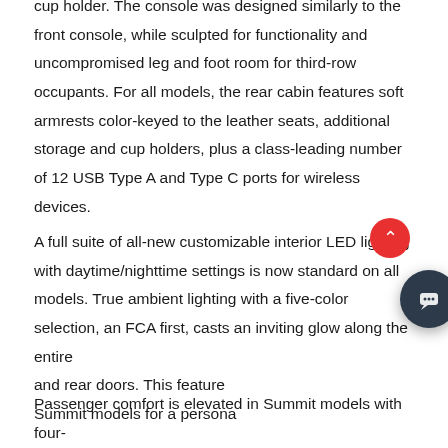cup holder. The console was designed similarly to the front console, while sculpted for functionality and uncompromised leg and foot room for third-row occupants. For all models, the rear cabin features soft armrests color-keyed to the leather seats, additional storage and cup holders, plus a class-leading number of 12 USB Type A and Type C ports for wireless devices.
A full suite of all-new customizable interior LED lighting with daytime/nighttime settings is now standard on all models. True ambient lighting with a five-color selection, an FCA first, casts an inviting glow along the entire and rear doors. This feature Summit models for a persona
[Figure (other): Chat widget overlay showing a bot icon and the message 'Vous avez des questions ? Je suis heureux de vous aider.' with a close (X) button.]
Passenger comfort is elevated in Summit models with four- automatic temperature control, which has the capability to different fan levels and modes for individual passengers in the first